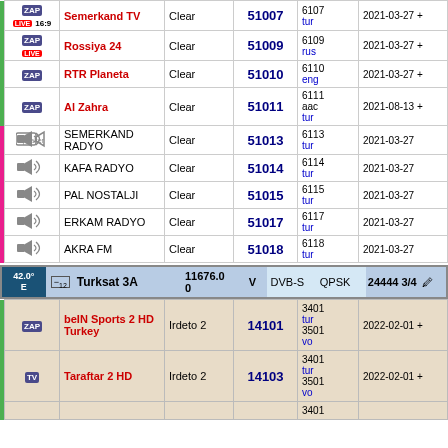| Icon | Channel | Encryption | SID | VPID | Date |
| --- | --- | --- | --- | --- | --- |
| ZAP/LIVE 16:9 | Semerkand TV | Clear | 51007 | 6107 tur | 2021-03-27 + |
| ZAP/LIVE | Rossiya 24 | Clear | 51009 | 6109 rus | 2021-03-27 + |
| ZAP | RTR Planeta | Clear | 51010 | 6110 eng | 2021-03-27 + |
| ZAP | Al Zahra | Clear | 51011 | 6111 aac tur | 2021-08-13 + |
| radio | SEMERKAND RADYO | Clear | 51013 | 6113 tur | 2021-03-27 |
| radio | KAFA RADYO | Clear | 51014 | 6114 tur | 2021-03-27 |
| radio | PAL NOSTALJI | Clear | 51015 | 6115 tur | 2021-03-27 |
| radio | ERKAM RADYO | Clear | 51017 | 6117 tur | 2021-03-27 |
| radio | AKRA FM | Clear | 51018 | 6118 tur | 2021-03-27 |
| Pos | Name | Freq | Pol | System | Modulation | SR |
| --- | --- | --- | --- | --- | --- | --- |
| 42.0° E | Turksat 3A | 11676.00 | V | DVB-S | QPSK | 24444 3/4 |
| Icon | Channel | Encryption | SID | VPID | Date |
| --- | --- | --- | --- | --- | --- |
| ZAP | beIN Sports 2 HD Turkey | Irdeto 2 | 14101 | 3401 tur 3501 vo | 2022-02-01 + |
| TV | Taraftar 2 HD | Irdeto 2 | 14103 | 3401 tur 3501 vo | 2022-02-01 + |